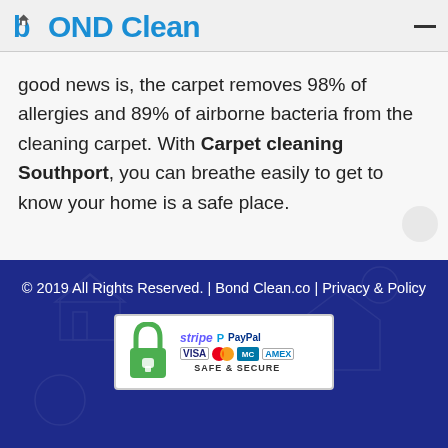[Figure (logo): Bond Clean logo with blue stylized letter b and house icon, followed by OND Clean in blue bold text]
good news is, the carpet removes 98% of allergies and 89% of airborne bacteria from the cleaning carpet. With Carpet cleaning Southport, you can breathe easily to get to know your home is a safe place.
© 2019 All Rights Reserved. | Bond Clean.co | Privacy & Policy
[Figure (infographic): Safe & Secure payment badge with green padlock icon, Stripe, PayPal, VISA, Mastercard, and American Express logos]
Call | Quote